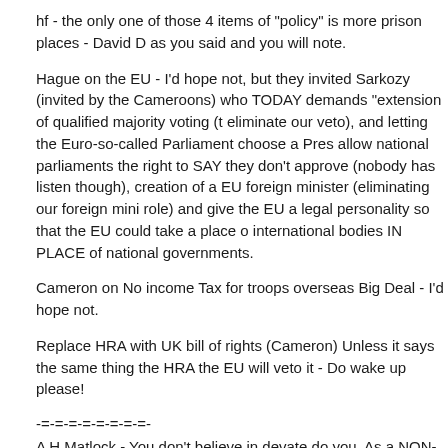hf - the only one of those 4 items of "policy" is more prison places - David D as you said and you will note.
Hague on the EU - I'd hope not, but they invited Sarkozy (invited by the Cameroons) who TODAY demands "extension of qualified majority voting (t eliminate our veto), and letting the Euro-so-called Parliament choose a Pres allow national parliaments the right to SAY they don't approve (nobody has listen though), creation of a EU foreign minister (eliminating our foreign mini role) and give the EU a legal personality so that the EU could take a place o international bodies IN PLACE of national governments.
Cameron on No income Tax for troops overseas Big Deal - I'd hope not.
Replace HRA with UK bill of rights (Cameron) Unless it says the same thing the HRA the EU will veto it - Do wake up please!
-=-=-=-=-=-=-=-=-
A H Matlock - You don't believe in devate do you. As a NON-UKIP person I a not a troll. I'm a despairing Tory who can't vote for this fatuous set-uo.
-=-=-=-=-=-=-=-=-
Martin Bristow - "At least the elecorate is now taking notice." With Blair's lot comitting Hara Kiri they are desperate to find something they CAN vote for. they can't find it! Otherwise I agree!!